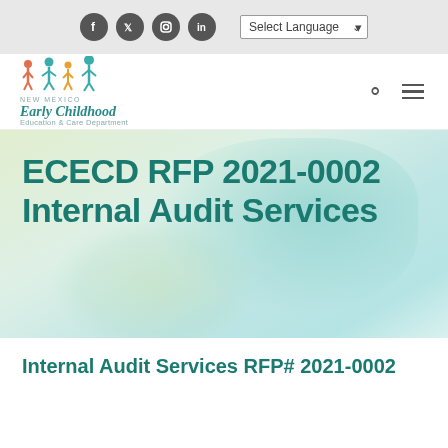[Figure (screenshot): Top navigation bar with social media icons (Facebook, Twitter, Instagram, LinkedIn) and a Select Language dropdown]
[Figure (logo): New Mexico Early Childhood Education & Care Department logo with colorful figure icons]
ECECD RFP 2021-0002 Internal Audit Services
Internal Audit Services RFP# 2021-0002